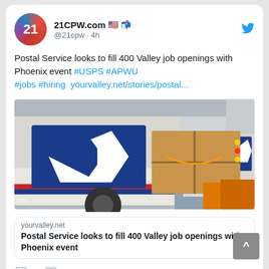21CPW.com @21cpw · 4h
Postal Service looks to fill 400 Valley job openings with Phoenix event #USPS #APWU #jobs #hiring yourvalley.net/stories/postal...
[Figure (photo): USPS mail truck on the left with eagle logo and red/blue stripe; postal worker on the right loading a large cardboard box into a truck]
yourvalley.net
Postal Service looks to fill 400 Valley job openings with Phoenix event